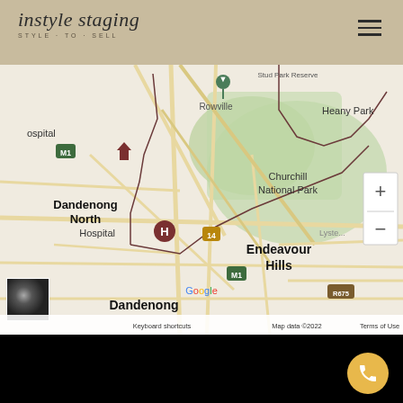instyle staging — style·to·sell
[Figure (map): Google Maps showing Dandenong North, Churchill National Park, Endeavour Hills, Heany Park, Hospital area with zoom controls and satellite thumbnail. Map data ©2022.]
Keyboard shortcuts   Map data ©2022   Terms of Use